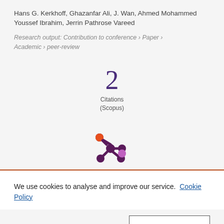Hans G. Kerkhoff, Ghazanfar Ali, J. Wan, Ahmed Mohammed Youssef Ibrahim, Jerrin Pathrose Vareed
Research output: Contribution to conference › Paper › Academic › peer-review
2 Citations (Scopus)
[Figure (logo): Altmetric flower logo with colored dots on petals]
We use cookies to analyse and improve our service. Cookie Policy